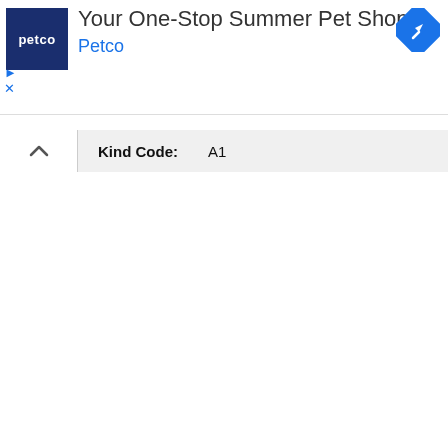[Figure (screenshot): Petco advertisement banner with logo, title 'Your One-Stop Summer Pet Shop', brand name 'Petco', a blue navigation/map icon, play button and close button controls.]
Kind Code:    A1